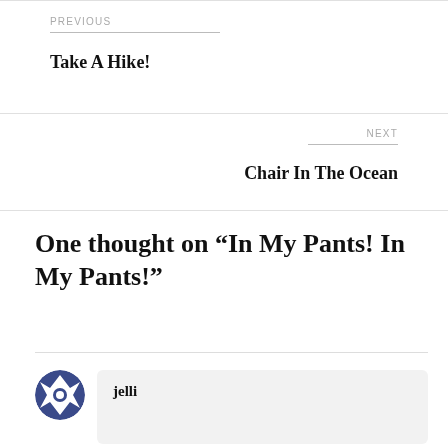PREVIOUS
Take A Hike!
NEXT
Chair In The Ocean
One thought on “In My Pants! In My Pants!”
jelli